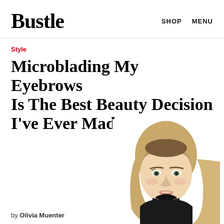Bustle   SHOP   MENU
Style
Microblading My Eyebrows Is The Best Beauty Decision I've Ever Made
[Figure (photo): Portrait photo of a young blonde woman wearing a black turtleneck, looking at the camera with a slight smile. Photo is cropped at the bottom of the frame.]
by Olivia Muenter